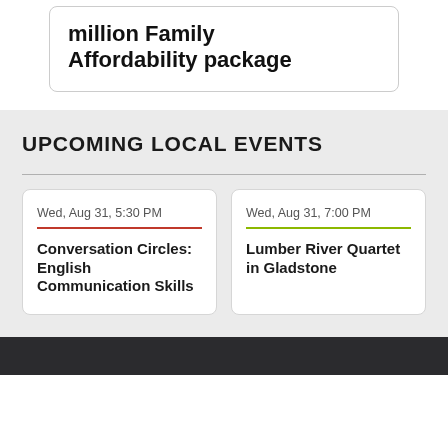million Family Affordability package
UPCOMING LOCAL EVENTS
Wed, Aug 31, 5:30 PM
Conversation Circles: English Communication Skills
Wed, Aug 31, 7:00 PM
Lumber River Quartet in Gladstone